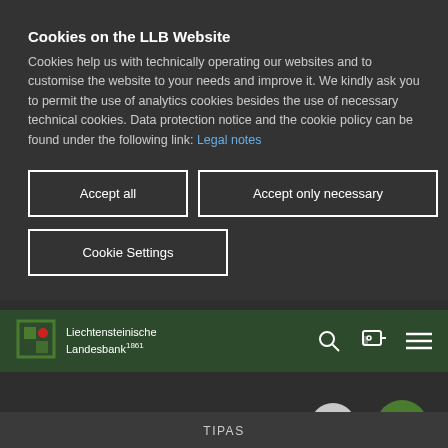Cookies on the LLB Website
Cookies help us with technically operating our websites and to customise the website to your needs and improve it. We kindly ask you to permit the use of analytics cookies besides the use of necessary technical cookies. Data protection notice and the cookie policy can be found under the following link: Legal notes
Accept all
Accept only necessary
Cookie Settings
[Figure (logo): Liechtensteinische Landesbank 1861 logo with green and red square icon]
Liechtensteinische Landesbank 1861
Quick Links
TIPAS